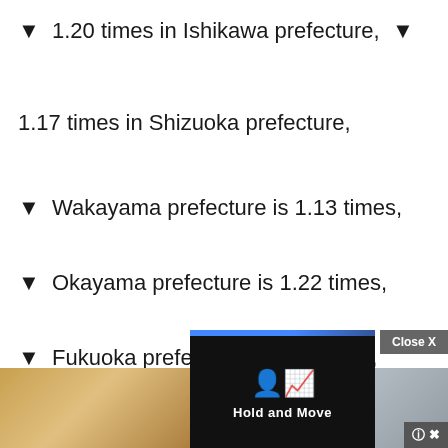▼ 1.20 times in Ishikawa prefecture, ▼
1.17 times in Shizuoka prefecture,
▼ Wakayama prefecture is 1.13 times,
▼ Okayama prefecture is 1.22 times,
▼ Fukuoka prefecture is 1.17 times,
▼ Saga prefecture is 1.20 times,
[Figure (other): Advertisement overlay with 'Hold and Move' banner and close button over outdoor photo background]